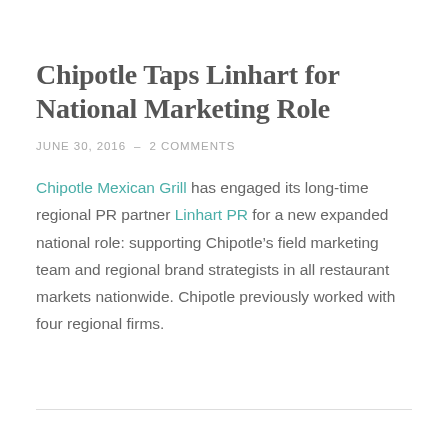Chipotle Taps Linhart for National Marketing Role
JUNE 30, 2016  –  2 COMMENTS
Chipotle Mexican Grill has engaged its long-time regional PR partner Linhart PR for a new expanded national role: supporting Chipotle’s field marketing team and regional brand strategists in all restaurant markets nationwide. Chipotle previously worked with four regional firms.